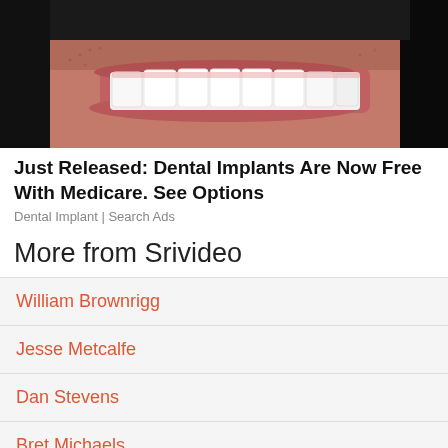[Figure (photo): Close-up photo of a smiling person showing white teeth, dark background]
Just Released: Dental Implants Are Now Free With Medicare. See Options
Dental Implant | Search Ads
More from Srivideo
William Brownrigg
Jesse Metcalfe
Dan Stevens
Bret Michaels
Mohammad Nabi